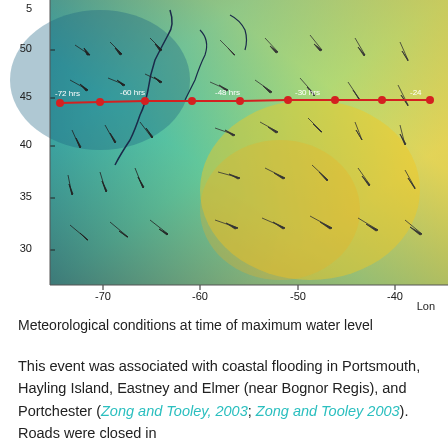[Figure (map): Meteorological map showing wind field and storm track over the North Atlantic. Color gradient from blue-green (north/west) to yellow-orange (south/east) indicating wind speed. Arrow vectors show wind direction across the domain. A red line with dots marks the storm track trajectory labeled with time intervals: -72 hrs, -60 hrs, -48 hrs, -30 hrs, -24. Y-axis shows latitude values 30, 35, 40, 45, 50. X-axis shows longitude values -70, -60, -50, -40 and label 'Lon'. Partial top y-axis label visible.]
Meteorological conditions at time of maximum water level
This event was associated with coastal flooding in Portsmouth, Hayling Island, Eastney and Elmer (near Bognor Regis), and Portchester (Zong and Tooley, 2003; Zong and Tooley 2003). Roads were closed in